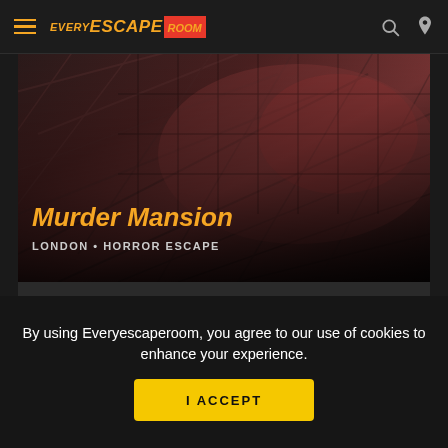Every Escape Room
[Figure (photo): Dark moody photo of rooftop tiles with reddish-purple hues suggesting a horror theme]
Murder Mansion
LONDON • HORROR ESCAPE
Your most recent paranormal investigation has led to you travelling to an otherworldly locale where you've stumbled upon an enormous, menacing estate. T...
READ MORE!
By using Everyescaperoom, you agree to our use of cookies to enhance your experience.
I ACCEPT